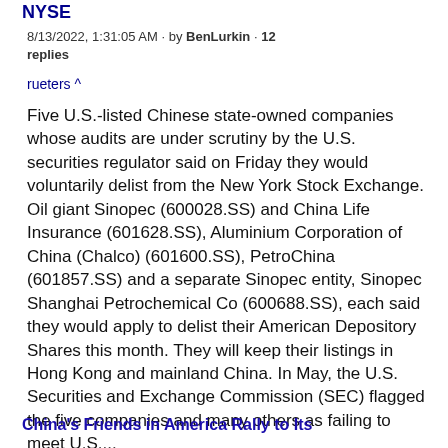NYSE
8/13/2022, 1:31:05 AM · by BenLurkin · 12 replies
rueters ^
Five U.S.-listed Chinese state-owned companies whose audits are under scrutiny by the U.S. securities regulator said on Friday they would voluntarily delist from the New York Stock Exchange. Oil giant Sinopec (600028.SS) and China Life Insurance (601628.SS), Aluminium Corporation of China (Chalco) (601600.SS), PetroChina (601857.SS) and a separate Sinopec entity, Sinopec Shanghai Petrochemical Co (600688.SS), each said they would apply to delist their American Depository Shares this month. They will keep their listings in Hong Kong and mainland China. In May, the U.S. Securities and Exchange Commission (SEC) flagged the five companies and many others as failing to meet U.S....
China's Friends in America Rally to Its